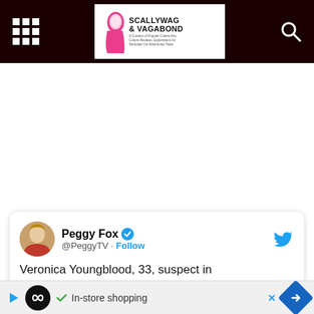Scallywag & Vagabond
[Figure (screenshot): Tweet card from Peggy Fox @PeggyTV with verified badge and Follow link. Tweet text begins: Veronica Youngblood, 33, suspect in...]
Peggy Fox @PeggyTV · Follow
Veronica Youngblood, 33, suspect in Tyso... ive orde... 1-yr